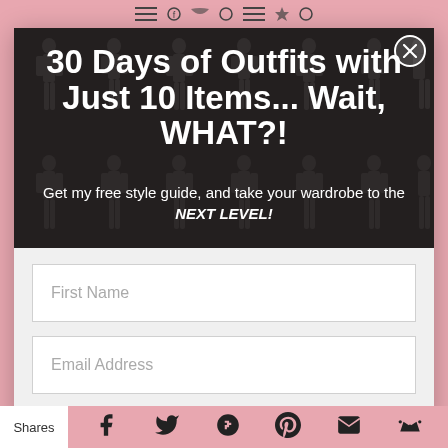[Figure (photo): Dark overlay modal popup with fashion model silhouettes in a grid background]
30 Days of Outfits with Just 10 Items... Wait, WHAT?!
Get my free style guide, and take your wardrobe to the NEXT LEVEL!
First Name
Email Address
Subscribe
Shares